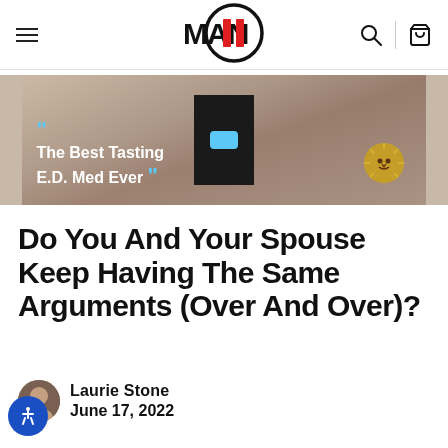MAN II - navigation header with hamburger menu, logo, search and cart icons
[Figure (photo): Advertisement banner: 'The Best Tasting E.D. Med Ever' with blue pill product on fabric background and lion logo]
Do You And Your Spouse Keep Having The Same Arguments (Over And Over)?
Laurie Stone
June 17, 2022